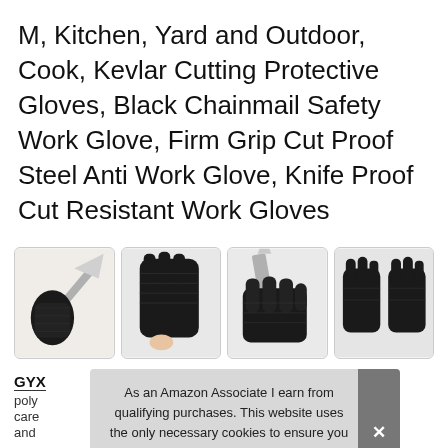M, Kitchen, Yard and Outdoor, Cook, Kevlar Cutting Protective Gloves, Black Chainmail Safety Work Glove, Firm Grip Cut Proof Steel Anti Work Glove, Knife Proof Cut Resistant Work Gloves
[Figure (photo): Four thumbnail images of black cut-resistant gloves in use: glove holding knife blade, close-up of glove texture, glove gripping a blade, and pair of gloves displayed]
GYX
poly
care
and
As an Amazon Associate I earn from qualifying purchases. This website uses the only necessary cookies to ensure you get the best experience on our website. More information